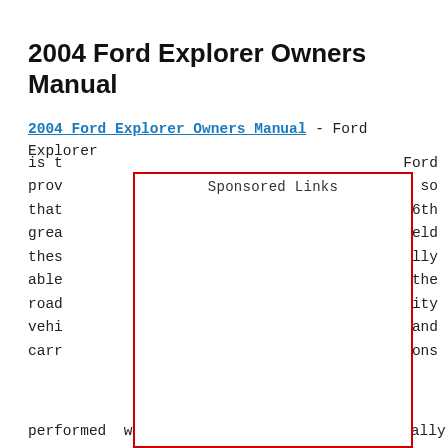2004 Ford Explorer Owners Manual
2004 Ford Explorer Owners Manual - Ford Explorer is t... Ford prov... so that... 6th grea... held thes... eally able... the road... tility vehi... and carr... ons
[Figure (other): Sponsored Links box overlay with red border covering center of page]
performed when Infant Boomers were actually